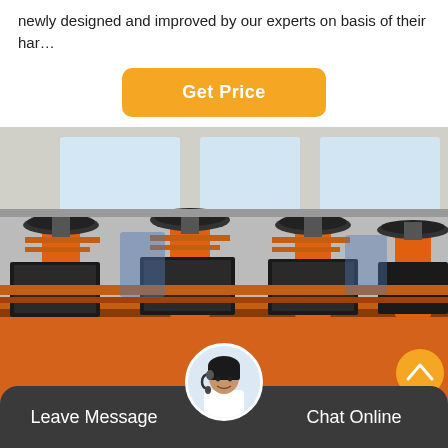newly designed and improved by our experts on basis of their har…
[Figure (other): Orange 'Get Price' button with rounded corners on white background]
[Figure (photo): Industrial orange mining flotation machines lined up in a factory/warehouse setting. Multiple large orange mechanical units with black components and rotating top mechanisms are visible.]
Leave Message   Chat Online